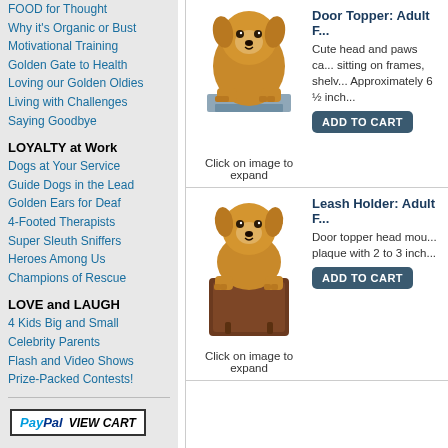FOOD for Thought
Why it's Organic or Bust
Motivational Training
Golden Gate to Health
Loving our Golden Oldies
Living with Challenges
Saying Goodbye
LOYALTY at Work
Dogs at Your Service
Guide Dogs in the Lead
Golden Ears for Deaf
4-Footed Therapists
Super Sleuth Sniffers
Heroes Among Us
Champions of Rescue
LOVE and LAUGH
4 Kids Big and Small
Celebrity Parents
Flash and Video Shows
Prize-Packed Contests!
[Figure (illustration): Door Topper Adult product - dog figure with head and paws over a grey shelf/frame]
Click on image to expand
Cute head and paws can be shown sitting on frames, shelves, etc. Approximately 6 ½ inch...
[Figure (illustration): Leash Holder Adult product - dog head mount plaque with 2 to 3 inch hooks on brown wood plaque]
Click on image to expand
Leash Holder: Adult F
Door topper head mou... plaque with 2 to 3 inch...